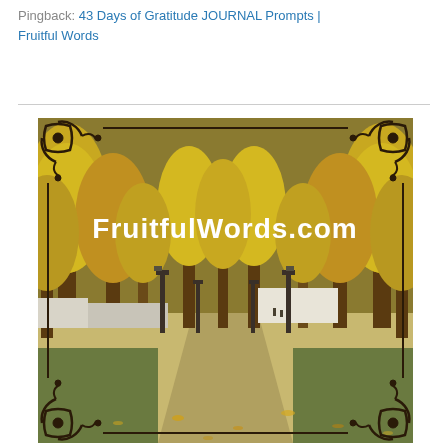Pingback: 43 Days of Gratitude JOURNAL Prompts | Fruitful Words
[Figure (illustration): Photograph of an autumn park scene with tall golden ginkgo trees lining a pathway, lamp posts visible, fallen yellow leaves on the ground. Overlaid with decorative dark scrollwork corner borders and white bold text 'FruitfulWords.com' in the upper portion of the image.]